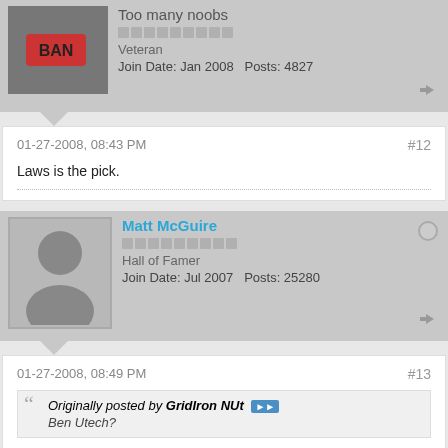Too many noobs
Veteran
Join Date: Jan 2008   Posts: 4827
01-27-2008, 08:43 PM
#12
Laws is the pick.
Matt McGuire
Hall of Famer
Join Date: Jul 2007   Posts: 25280
01-27-2008, 08:49 PM
#13
Originally posted by GridIron NUt
Ben Utech?
He plays H-Back and I don't think he is that good anyways.
2014-2015 Kentucky Wildcats (38-1)